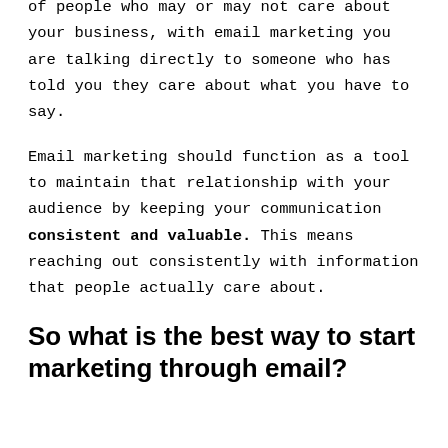of people who may or may not care about your business, with email marketing you are talking directly to someone who has told you they care about what you have to say.
Email marketing should function as a tool to maintain that relationship with your audience by keeping your communication consistent and valuable. This means reaching out consistently with information that people actually care about.
So what is the best way to start marketing through email?